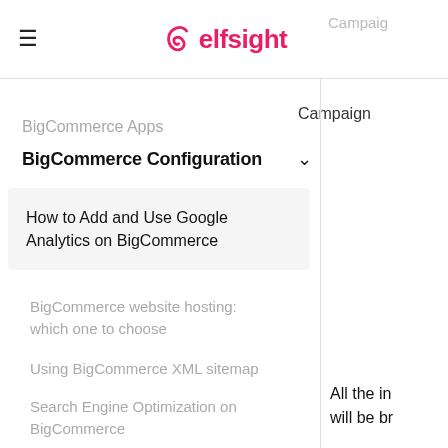elfsight
Campaign
Campaign
BigCommerce Apps
BigCommerce Configuration
How to Add and Use Google Analytics on BigCommerce
BigCommerce website hosting: which one to choose
Using BigCommerce XML sitemap
Search Engine Optimization on BigCommerce
All the in will be br